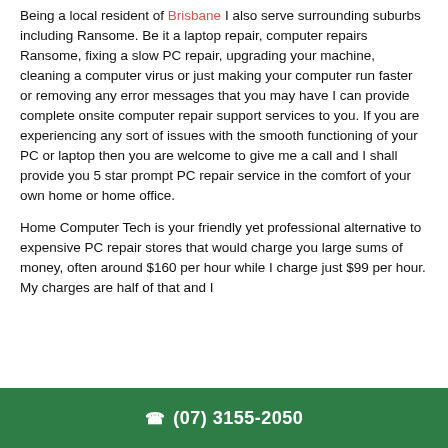Being a local resident of Brisbane I also serve surrounding suburbs including Ransome. Be it a laptop repair, computer repairs Ransome, fixing a slow PC repair, upgrading your machine, cleaning a computer virus or just making your computer run faster or removing any error messages that you may have I can provide complete onsite computer repair support services to you. If you are experiencing any sort of issues with the smooth functioning of your PC or laptop then you are welcome to give me a call and I shall provide you 5 star prompt PC repair service in the comfort of your own home or home office.
Home Computer Tech is your friendly yet professional alternative to expensive PC repair stores that would charge you large sums of money, often around $160 per hour while I charge just $99 per hour. My charges are half of that and I
(07) 3155-2050